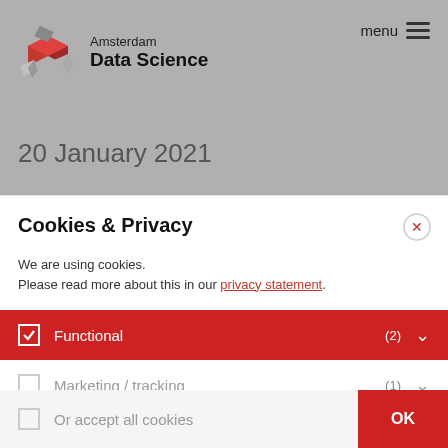[Figure (logo): Amsterdam Data Science logo with red cube and gray diamond shapes, with text 'Amsterdam Data Science']
menu
20 January 2021
Cookies & Privacy
We are using cookies.
Please read more about this in our privacy statement.
Functional (2)
Marketing / tracking (1)
Or accept all cookies
OK